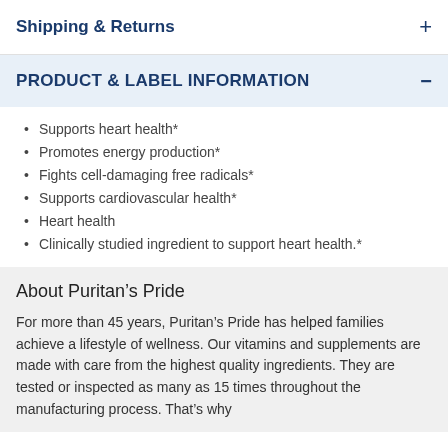Shipping & Returns
PRODUCT & LABEL INFORMATION
Supports heart health*
Promotes energy production*
Fights cell-damaging free radicals*
Supports cardiovascular health*
Heart health
Clinically studied ingredient to support heart health.*
About Puritan's Pride
For more than 45 years, Puritan's Pride has helped families achieve a lifestyle of wellness. Our vitamins and supplements are made with care from the highest quality ingredients. They are tested or inspected as many as 15 times throughout the manufacturing process. That's why